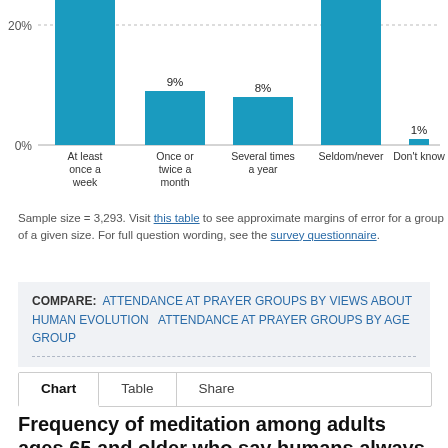[Figure (bar-chart): Attendance at prayer groups (partial view)]
Sample size = 3,293. Visit this table to see approximate margins of error for a group of a given size. For full question wording, see the survey questionnaire.
COMPARE: ATTENDANCE AT PRAYER GROUPS BY VIEWS ABOUT HUMAN EVOLUTION   ATTENDANCE AT PRAYER GROUPS BY AGE GROUP
Chart   Table   Share
Frequency of meditation among adults ages 65 and older who say humans always existed in